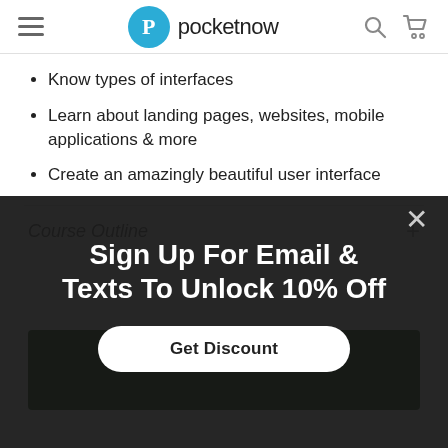pocketnow
Know types of interfaces
Learn about landing pages, websites, mobile applications & more
Create an amazingly beautiful user interface
Course Outline
[Figure (screenshot): Modal popup overlay with dark background showing 'Sign Up For Email & Texts To Unlock 10% Off' and a 'Get Discount' button]
Sign Up For Email & Texts To Unlock 10% Off
Get Discount